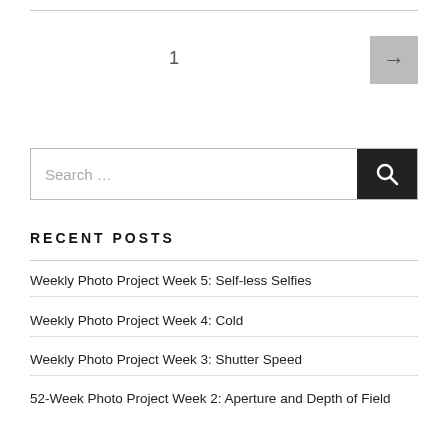1
[Figure (other): Next page arrow button]
[Figure (other): Search input box with search button]
RECENT POSTS
Weekly Photo Project Week 5: Self-less Selfies
Weekly Photo Project Week 4: Cold
Weekly Photo Project Week 3: Shutter Speed
52-Week Photo Project Week 2: Aperture and Depth of Field